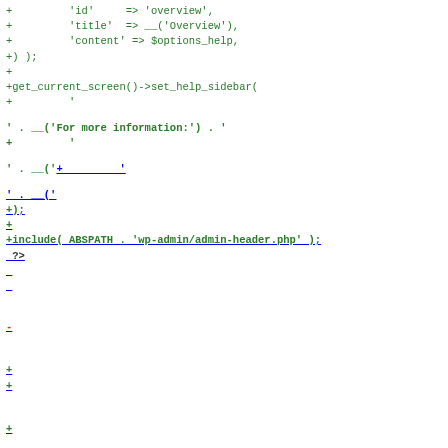[Figure (screenshot): Code diff screenshot showing PHP/HTML source code changes with green added lines and red removed lines, including WordPress settings page modifications]